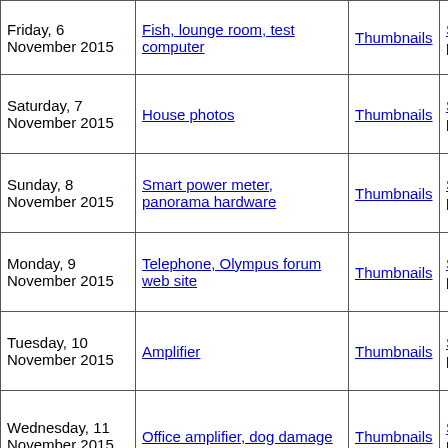| Date | Description | Thumbnails | Small photos | diary |
| --- | --- | --- | --- | --- |
| Friday, 6 November 2015 | Fish, lounge room, test computer | Thumbnails | Small photos | diary |
| Saturday, 7 November 2015 | House photos | Thumbnails | Small photos | diary |
| Sunday, 8 November 2015 | Smart power meter, panorama hardware | Thumbnails | Small photos | diary |
| Monday, 9 November 2015 | Telephone, Olympus forum web site | Thumbnails | Small photos | diary |
| Tuesday, 10 November 2015 | Amplifier | Thumbnails | Small photos | diary |
| Wednesday, 11 November 2015 | Office amplifier, dog damage | Thumbnails | Small photos | diary |
| Thursday, 12 November 2015 | Mystery bush | Thumbnails | Small photos | diary |